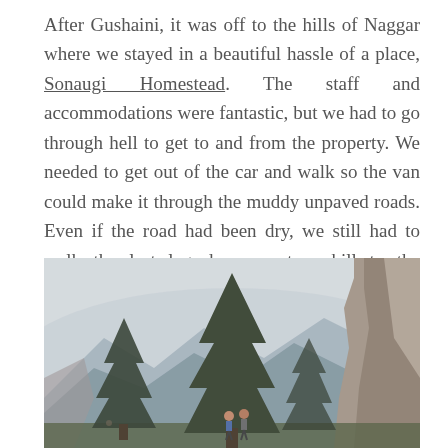After Gushaini, it was off to the hills of Naggar where we stayed in a beautiful hassle of a place, Sonaugi Homestead. The staff and accommodations were fantastic, but we had to go through hell to get to and from the property. We needed to get out of the car and walk so the van could make it through the muddy unpaved roads. Even if the road had been dry, we still had to walk the last leg down a steep hill to the guesthouse. It was hard to complain about the ordeal when a 70-year-old man from the guesthouse was doing the same exact walk with us.
[Figure (photo): Mountain landscape photograph showing tall evergreen trees (pine/fir), misty mountain peaks in the background, two hikers walking on a trail, and a rocky cliff face on the right side. The scene is foggy/overcast.]